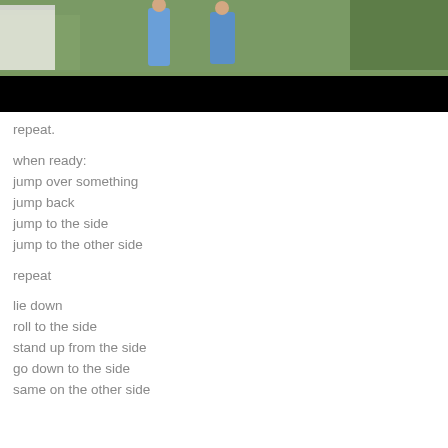[Figure (photo): Two people in blue clothing on a grassy lawn, with a building visible in the background. Bottom portion of image is a black bar.]
repeat.

when ready:
jump over something
jump back
jump to the side
jump to the other side

repeat

lie down
roll to the side
stand up from the side
go down to the side
same on the other side